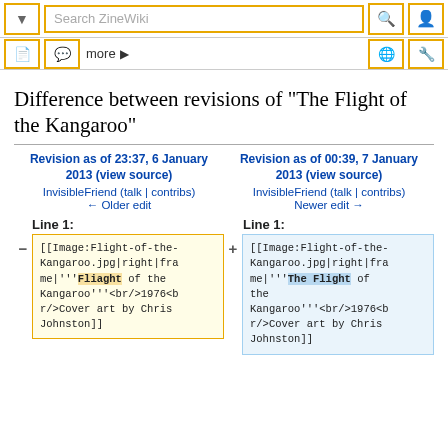Search ZineWiki toolbar
Difference between revisions of "The Flight of the Kangaroo"
Revision as of 23:37, 6 January 2013 (view source)
InvisibleFriend (talk | contribs)
← Older edit
Revision as of 00:39, 7 January 2013 (view source)
InvisibleFriend (talk | contribs)
Newer edit →
Line 1:
Line 1:
[[Image:Flight-of-the-Kangaroo.jpg|right|frame|'''Fliaght of the Kangaroo'''<br/>1976<br/>Cover art by Chris Johnston]]
[[Image:Flight-of-the-Kangaroo.jpg|right|frame|'''The Flight of the Kangaroo'''<br/>1976<br/>Cover art by Chris Johnston]]